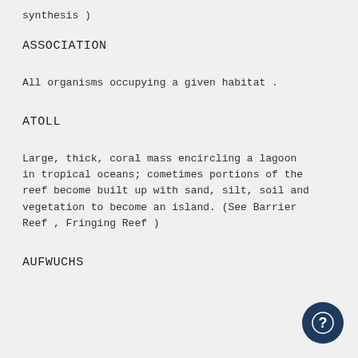synthesis )
ASSOCIATION
All organisms occupying a given habitat .
ATOLL
Large, thick, coral mass encircling a lagoon in tropical oceans; cometimes portions of the reef become built up with sand, silt, soil and vegetation to become an island. (See Barrier Reef , Fringing Reef )
AUFWUCHS